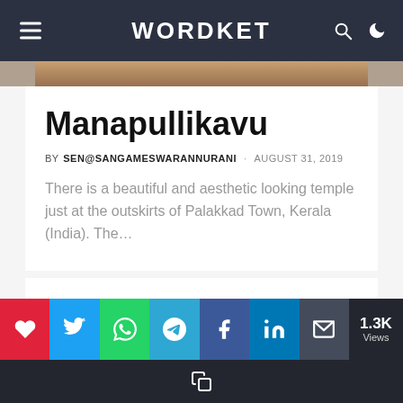WORDKET
[Figure (photo): Partial view of a photo/image strip at top of article card]
Manapullikavu
BY SEN@SANGAMESWARANNURANI · AUGUST 31, 2019
There is a beautiful and aesthetic looking temple just at the outskirts of Palakkad Town, Kerala (India). The...
Privacy & Cookies: This site uses cookies. By continuing to use this website, you agree to their use. To find out more, including privacy and
1.3K Views